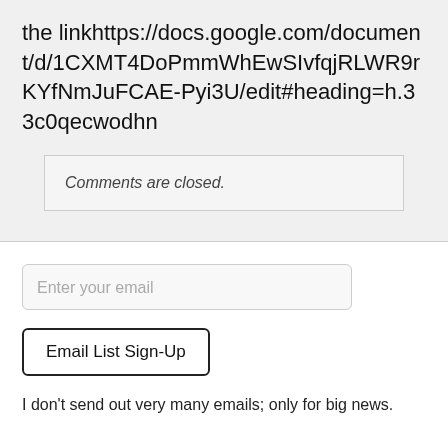the linkhttps://docs.google.com/document/d/1CXMT4DoPmmWhEwSIvfqjRLWR9rKYfNmJuFCAE-Pyi3U/edit#heading=h.33c0qecwodhn
Comments are closed.
Enter your email
Email List Sign-Up
I don't send out very many emails; only for big news.